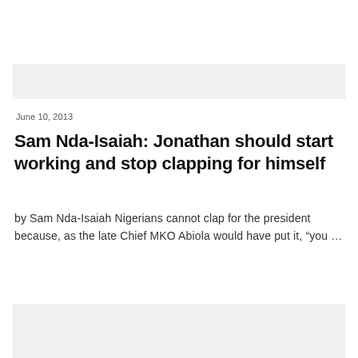[Figure (other): Gray banner/header bar at top of page]
June 10, 2013
Sam Nda-Isaiah: Jonathan should start working and stop clapping for himself
by Sam Nda-Isaiah Nigerians cannot clap for the president because, as the late Chief MKO Abiola would have put it, “you …
[Figure (other): Gray banner/footer bar at bottom of page]